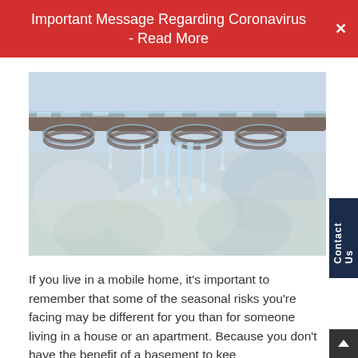Important Message Regarding Coronavirus - Read More
[Figure (photo): Close-up photograph of frozen pipes or metal railing with icicles hanging down, blurred background]
If you live in a mobile home, it's important to remember that some of the seasonal risks you're facing may be different for you than for someone living in a house or an apartment. Because you don't have the benefit of a basement to kee